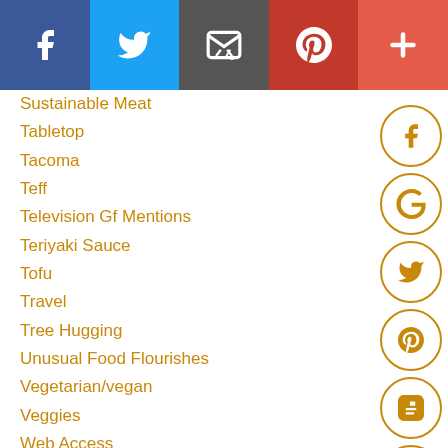[Figure (infographic): Top navigation bar with social sharing icons: Facebook (dark blue), Twitter (light blue), Email (dark gray), Pinterest (dark red), Plus/More (coral red)]
Sustainable Meat
Tabletop
Tacoma
Teff
Television Gf Mentions
Teriyaki Sauce
Tofu
Travel
Tree Hugging
Unusual Food Flourishes
Vegetarian/vegan
Veggies
Web Access
Whipping Cream
Yogurt
RSS Feed
Archives
March 2022
[Figure (infographic): Right-side social media icon circles: Facebook, Google+, Twitter, Pinterest, Blogger, YouTube — all outlined in brown/gold color]